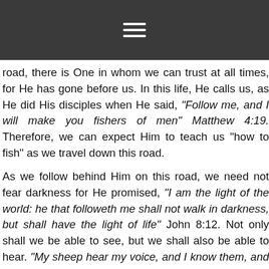☰ (hamburger menu icon)
road, there is One in whom we can trust at all times, for He has gone before us. In this life, He calls us, as He did His disciples when He said, "Follow me, and I will make you fishers of men" Matthew 4:19. Therefore, we can expect Him to teach us "how to fish" as we travel down this road.

As we follow behind Him on this road, we need not fear darkness for He promised, "I am the light of the world: he that followeth me shall not walk in darkness, but shall have the light of life" John 8:12. Not only shall we be able to see, but we shall also be able to hear. "My sheep hear my voice, and I know them, and they follow me" John 12:26. Will there be suffering on this narrow road? Yes. The Apostle Peter encourages us with these words,"For even hereunto were ye called: because Christ also suffered for us, leaving us an example, that ye should follow his steps" 1 Peter 2:21. The Apostle John explained how we are to travel on this path, "He that saith he abideth in him ought